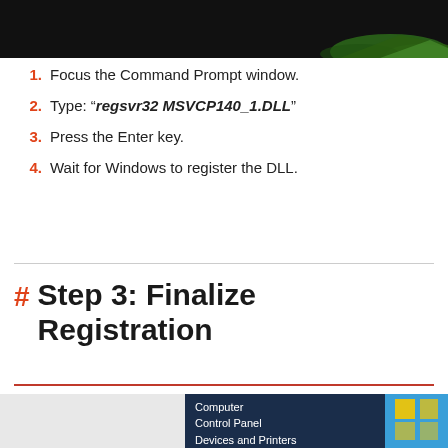[Figure (screenshot): Top screenshot of a dark window with green graphic element at bottom right]
Focus the Command Prompt window.
Type: “regsvr32 MSVCP140_1.DLL”
Press the Enter key.
Wait for Windows to register the DLL.
Step 3: Finalize Registration
[Figure (screenshot): Windows 7 Start menu showing Computer, Control Panel, and Devices and Printers options with Windows logo]